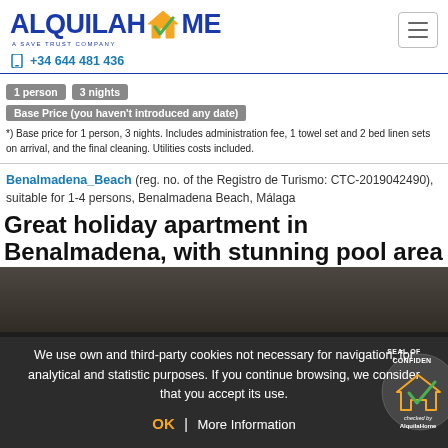[Figure (logo): AlquilaHome logo with house/checkmark icon, orange and green colors, blue text]
+34 644 481 436
1 person | 3 nights
Base Price (you haven't introduced any date)
*) Base price for 1 person, 3 nights. Includes administration fee, 1 towel set and 2 bed linen sets on arrival, and the final cleaning. Utilities costs included.
Benalmadena_Beach (reg. no. of the Registro de Turismo: CTC-2019042490), suitable for 1-4 persons, Benalmadena Beach, Málaga
Great holiday apartment in Benalmadena, with stunning pool area
We use own and third-party cookies not necessary for navigation, for analytical and statistic purposes. If you continue browsing, we consider that you accept its use.
OK | More Information